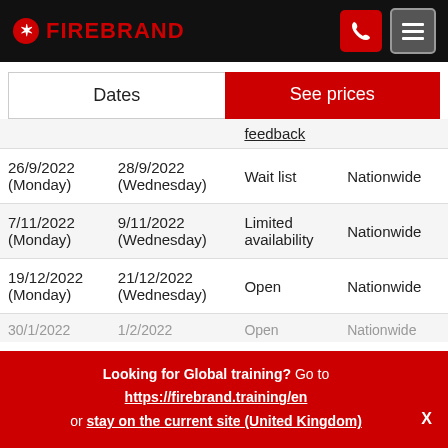FIREBRAND
|  |  | feedback |  |
| --- | --- | --- | --- |
| 26/9/2022 (Monday) | 28/9/2022 (Wednesday) | Wait list | Nationwide |
| 7/11/2022 (Monday) | 9/11/2022 (Wednesday) | Limited availability | Nationwide |
| 19/12/2022 (Monday) | 21/12/2022 (Wednesday) | Open | Nationwide |
| 30/1/2022 | 1/2/2022 | Open | Nationwide |
Looking for Global training? Go to https://firebrand.training/en or stay on the current site (United Kingdom)